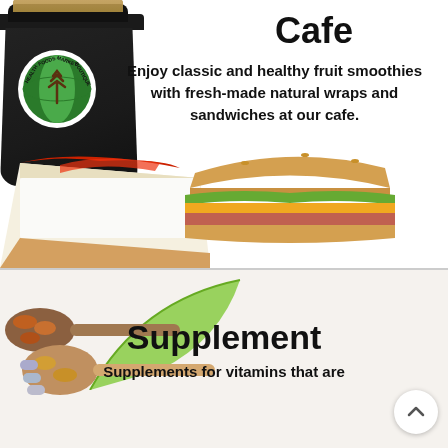[Figure (photo): Black coffee cup with Health Foods Market Boutique & More logo, cheesecake slice, and sandwich on white background - Cafe section]
Cafe
Enjoy classic and healthy fruit smoothies with fresh-made natural wraps and sandwiches at our cafe.
[Figure (photo): Wooden spoons with supplement capsules and pills on a light background - Supplement section]
Supplement
Supplements for vitamins that are